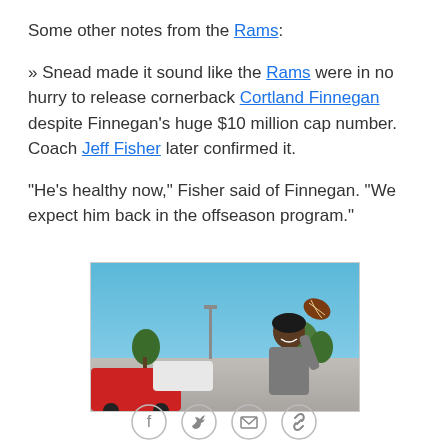Some other notes from the Rams:
» Snead made it sound like the Rams were in no hurry to release cornerback Cortland Finnegan despite Finnegan's huge $10 million cap number. Coach Jeff Fisher later confirmed it.
"He's healthy now," Fisher said of Finnegan. "We expect him back in the offseason program."
[Figure (photo): A smiling man in a grey shirt holding a football in an outdoor setting, with stadium lights, trees, and a red/white car visible in the background under a blue sky.]